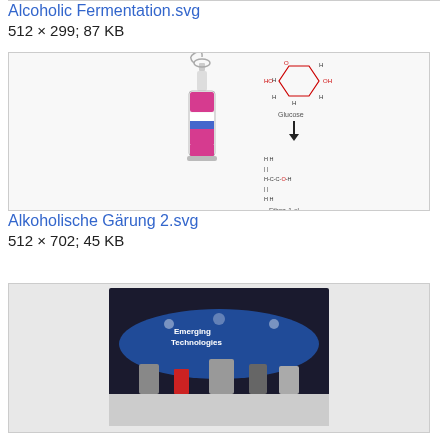[Figure (illustration): Fermentation illustration showing a bottle with pink liquid and a glucose to ethanol chemical diagram]
Alcoholic Fermentation.svg
512 × 299; 87 KB
Alkoholische Gärung 2.svg
512 × 702; 45 KB
[Figure (photo): Photo of an Emerging Technologies exhibit/trade show booth with blue canopy and machinery]